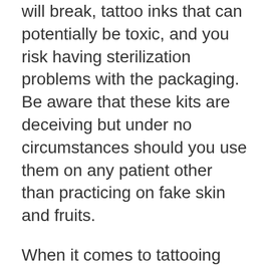will break, tattoo inks that can potentially be toxic, and you risk having sterilization problems with the packaging. Be aware that these kits are deceiving but under no circumstances should you use them on any patient other than practicing on fake skin and fruits.
When it comes to tattooing and purchasing your materials, you should never go for bargain prices and bulk kits for your clients. Mainly because they aren't going to be safe for anyone to use, and also because you won't know what's inside these ink bottles and where the needles are coming from, so be careful!
Always make an effort to get quality